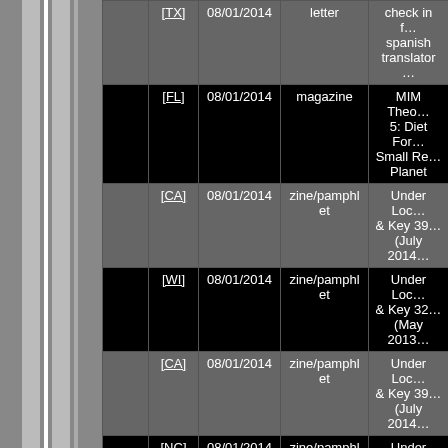|  | State | Date | Type | Description |
| --- | --- | --- | --- | --- |
|  | [TX] | 08/01/2014 | letter | check in f... spanish... translator... |
|  | [FL] | 08/01/2014 | magazine | MIM Theo... 5: Diet For... Small Re... Planet |
|  | [CA] | 08/01/2014 | zine/pamphlet | Under Loc... & Key 39... (July 2014... |
|  | [WI] | 08/01/2014 | zine/pamphlet | Under Loc... & Key 32... (May 2013... |
|  | [CA] | 08/01/2014 | zine/pamphlet | Under Loc... & Key 39... (July 2014... |
|  | [NC] | 08/01/2014 | zine/pamphlet | Under Loc... & Key 39... (July 2014... |
| ▶ | [NC] | 02/25/2014 | zine/pamphlet | Under Loc... & Key 36... (Jan 2014... |